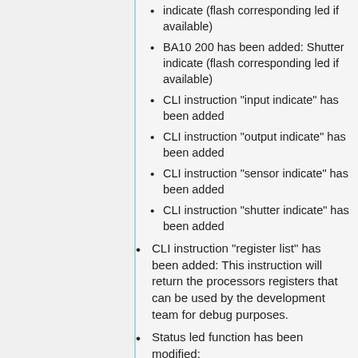indicate (flash corresponding led if available)
BA10 200 has been added: Shutter indicate (flash corresponding led if available)
CLI instruction "input indicate" has been added
CLI instruction "output indicate" has been added
CLI instruction "sensor indicate" has been added
CLI instruction "shutter indicate" has been added
CLI instruction "register list" has been added: This instruction will return the processors registers that can be used by the development team for debug purposes.
Status led function has been modified: